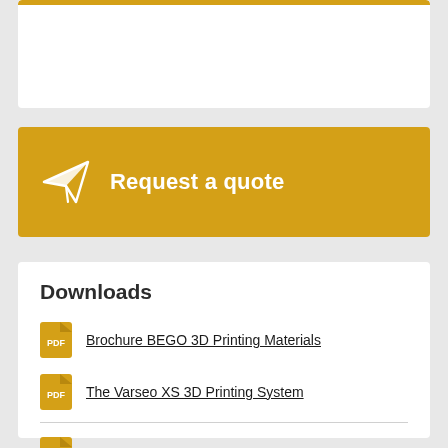[Figure (other): Top white card panel (partial, clipped at top)]
Request a quote
Downloads
Brochure BEGO 3D Printing Materials
The Varseo XS 3D Printing System
BEGO Catalogue – Dental Technology